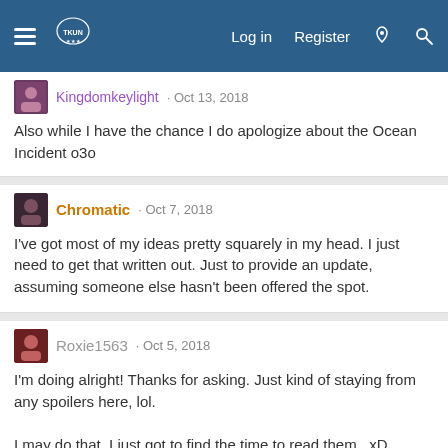Navigation bar with hamburger menu, logo, Log in, Register, and search icons
Kingdomkeylight · Oct 13, 2018
Also while I have the chance I do apologize about the Ocean Incident o3o
Chromatic · Oct 7, 2018
I've got most of my ideas pretty squarely in my head. I just need to get that written out. Just to provide an update, assuming someone else hasn't been offered the spot.
Roxie1563 · Oct 5, 2018
I'm doing alright! Thanks for asking. Just kind of staying from any spoilers here, lol.

I may do that. I just got to find the time to read them.. xD
Chromatic · Sep 28, 2018